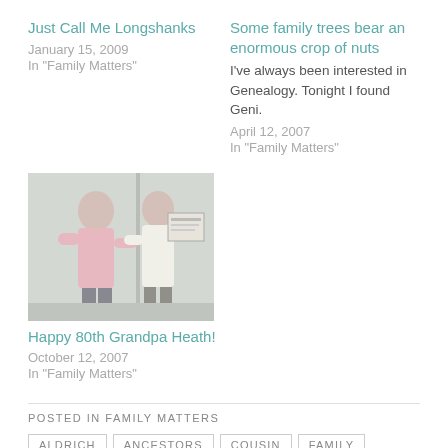Just Call Me Longshanks
January 15, 2009
In "Family Matters"
Some family trees bear an enormous crop of nuts
I've always been interested in Genealogy. Tonight I found Geni.
April 12, 2007
In "Family Matters"
[Figure (photo): Two people shaking hands or exchanging something, standing near a wall with a sign, indoor setting.]
Happy 80th Grandpa Heath!
October 12, 2007
In "Family Matters"
POSTED IN FAMILY MATTERS
ALDRICH
ANCESTORS
COUSIN
FAMILY